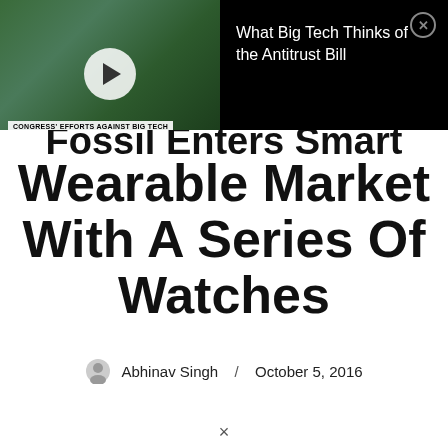[Figure (screenshot): Video overlay with thumbnail of a woman with glasses in front of green plants, play button in center, label 'CONGRESS' EFFORTS AGAINST BIG TECH' at bottom. Right side shows black panel with title 'What Big Tech Thinks of the Antitrust Bill' and close button.]
Fossil Enters Smart Wearable Market With A Series Of Watches
Abhinav Singh / October 5, 2016